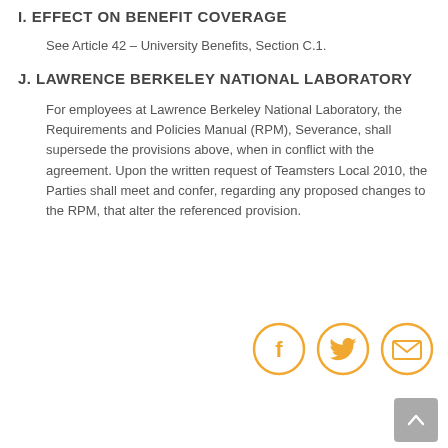I. EFFECT ON BENEFIT COVERAGE
See Article 42 – University Benefits, Section C.1.
J. LAWRENCE BERKELEY NATIONAL LABORATORY
For employees at Lawrence Berkeley National Laboratory, the Requirements and Policies Manual (RPM), Severance, shall supersede the provisions above, when in conflict with the agreement. Upon the written request of Teamsters Local 2010, the Parties shall meet and confer, regarding any proposed changes to the RPM, that alter the referenced provision.
[Figure (other): Social sharing icons: Facebook, Twitter, Email — orange circle outlines with icons inside]
[Figure (other): Scroll-to-top button, grey rounded square with upward arrow]